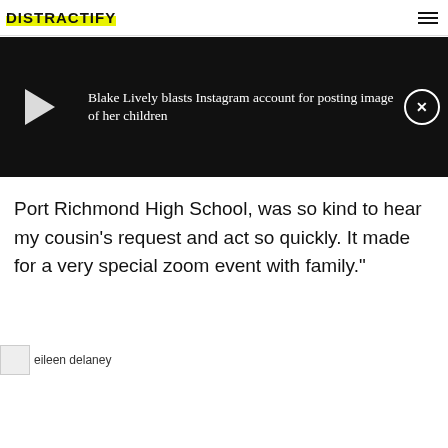DISTRACTIFY
[Figure (screenshot): Video player banner with dark background showing a play button on the left and article headline 'Blake Lively blasts Instagram account for posting image of her children' on the right with a close button]
Port Richmond High School, was so kind to hear my cousin's request and act so quickly. It made for a very special zoom event with family."
[Figure (photo): Broken image thumbnail with alt text 'eileen delaney']